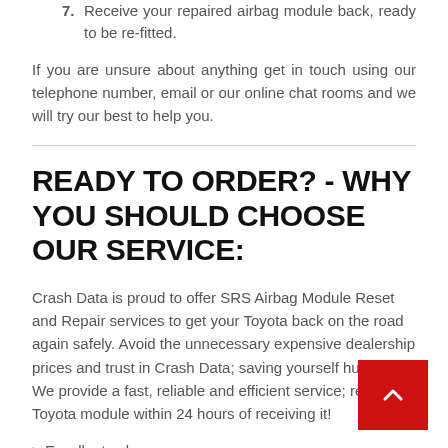7. Receive your repaired airbag module back, ready to be re-fitted.
If you are unsure about anything get in touch using our telephone number, email or our online chat rooms and we will try our best to help you.
READY TO ORDER? - WHY YOU SHOULD CHOOSE OUR SERVICE:
Crash Data is proud to offer SRS Airbag Module Reset and Repair services to get your Toyota back on the road again safely. Avoid the unnecessary expensive dealership prices and trust in Crash Data; saving yourself hundreds! We provide a fast, reliable and efficient service; returning Toyota module within 24 hours of receiving it!
> Excellent value